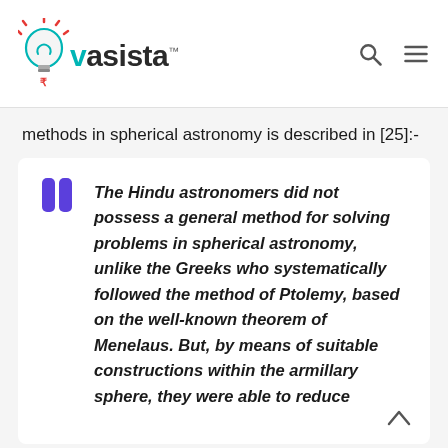vasista
methods in spherical astronomy is described in [25]:-
The Hindu astronomers did not possess a general method for solving problems in spherical astronomy, unlike the Greeks who systematically followed the method of Ptolemy, based on the well-known theorem of Menelaus. But, by means of suitable constructions within the armillary sphere, they were able to reduce